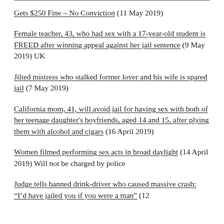Gets $250 Fine – No Conviction (11 May 2019)
Female teacher, 43, who had sex with a 17-year-old student is FREED after winning appeal against her jail sentence (9 May 2019) UK
Jilted mistress who stalked former lover and his wife is spared jail (7 May 2019)
California mom, 41, will avoid jail for having sex with both of her teenage daughter's boyfriends, aged 14 and 15, after plying them with alcohol and cigars (16 April 2019)
Women filmed performing sex acts in broad daylight (14 April 2019) Will not be charged by police
Judge tells banned drink-driver who caused massive crash: “I’d have jailed you if you were a man” (12...